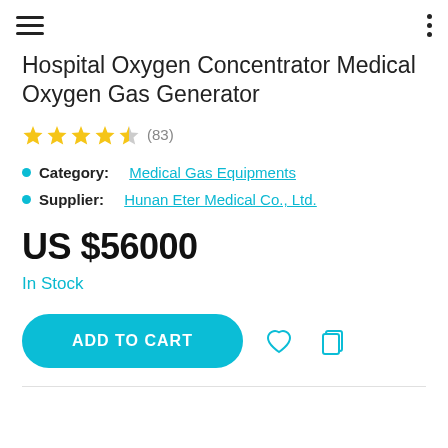Hospital Oxygen Concentrator Medical Oxygen Gas Generator
★★★★½ (83)
Category: Medical Gas Equipments
Supplier: Hunan Eter Medical Co., Ltd.
US $56000
In Stock
ADD TO CART